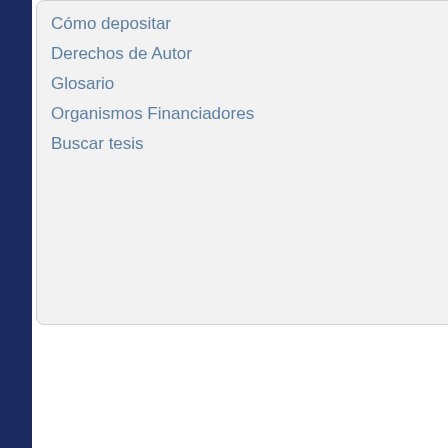Cómo depositar
Derechos de Autor
Glosario
Organismos Financiadores
Buscar tesis
| dc.format.extent |
| dc.language.iso |
| dc.publisher |
| dc.rights |
| dc.subject.other |
| dc.subject.other |
| dc.subject.other |
| dc.subject.other |
| dc.subject.other |
| dc.subject.other |
| dc.subject.other |
| dc.subject.other |
| dc.title |